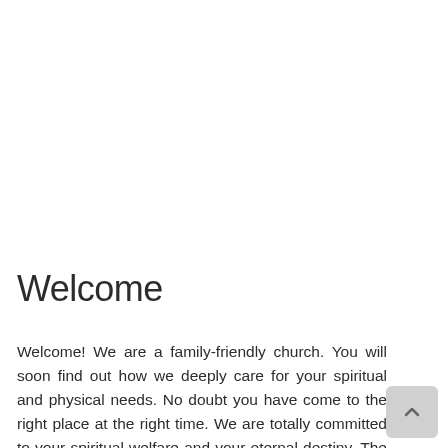Welcome
Welcome! We are a family-friendly church. You will soon find out how we deeply care for your spiritual and physical needs. No doubt you have come to the right place at the right time. We are totally committed to your spiritual welfare and your eternal destiny. The word of God is held in high esteem here, which will